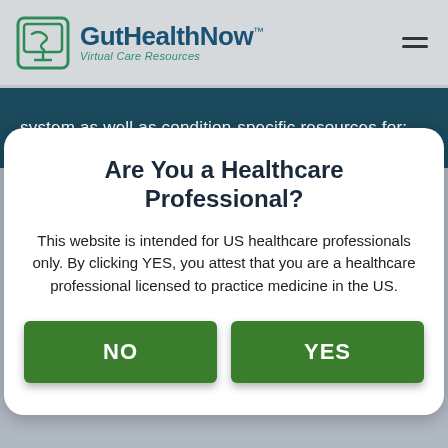GutHealthNow™ Virtual Care Resources
system as well as condition-specific resources for:
Are You a Healthcare Professional?
This website is intended for US healthcare professionals only. By clicking YES, you attest that you are a healthcare professional licensed to practice medicine in the US.
NO    YES
Digital Content for Virtual Care & Telemedicine Visits
Use this central repository to access digital disease